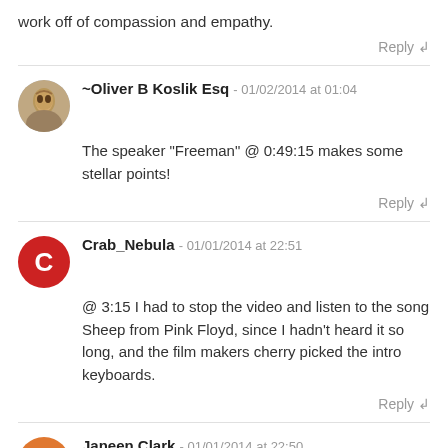work off of compassion and empathy.
Reply ↲
~Oliver B Koslik Esq - 01/02/2014 at 01:04
The speaker "Freeman" @ 0:49:15 makes some stellar points!
Reply ↲
Crab_Nebula - 01/01/2014 at 22:51
@ 3:15 I had to stop the video and listen to the song Sheep from Pink Floyd, since I hadn't heard it so long, and the film makers cherry picked the intro keyboards.
Reply ↲
Janeen Clark - 01/01/2014 at 22:50
there is more wrong with this so called film than